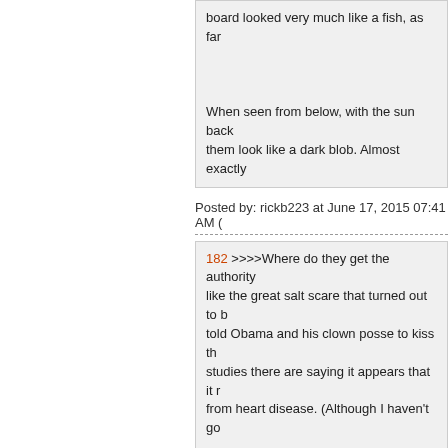board looked very much like a fish, as far
When seen from below, with the sun back them look like a dark blob. Almost exactly
Posted by: rickb223 at June 17, 2015 07:41 AM (
182 >>>>Where do they get the authority like the great salt scare that turned out to b told Obama and his clown posse to kiss th studies there are saying it appears that it r from heart disease. (Although I haven't go . . . .My doctor is still on the "salt is killing us I don't think he is ever going to change his supposed to be pro science.
Posted by: The Great White Scotsman at June 17
183 Cryin' John Boehner throws a hissy-fi cross with the Republicans who won't ge